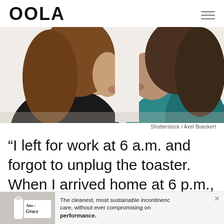OOLA
[Figure (photo): Two women facing each other in profile, appearing to argue or confront one another, on a white background. Left woman wears black, right woman wears teal floral top.]
Shutterstock / Axel Bueckert
“I left for work at 6 a.m. and forgot to unplug the toaster. When I arrived home at 6 p.m., I was given
[Figure (infographic): Advertisement banner at the bottom: 'Attn: Grace' product ad with text 'The cleanest, most sustainable incontinence care, without ever compromising on performance.']